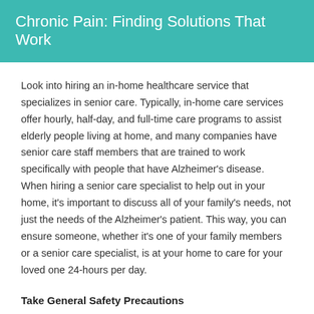Chronic Pain: Finding Solutions That Work
Look into hiring an in-home healthcare service that specializes in senior care. Typically, in-home care services offer hourly, half-day, and full-time care programs to assist elderly people living at home, and many companies have senior care staff members that are trained to work specifically with people that have Alzheimer's disease. When hiring a senior care specialist to help out in your home, it's important to discuss all of your family's needs, not just the needs of the Alzheimer's patient. This way, you can ensure someone, whether it's one of your family members or a senior care specialist, is at your home to care for your loved one 24-hours per day.
Take General Safety Precautions